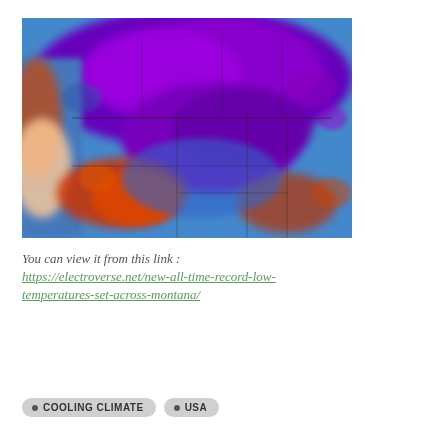[Figure (map): Temperature anomaly map of North America (USA and Canada) showing color-coded temperature departures. Purple and dark blue regions indicate extreme cold anomalies concentrated in the northern plains and Canada. Blue covers most of the western and central USA. Red and orange patches appear in parts of the southwest and southeast indicating warmer anomalies.]
You can view it from this link : https://electroverse.net/new-all-time-record-low-temperatures-set-across-montana/
COOLING CLIMATE
USA